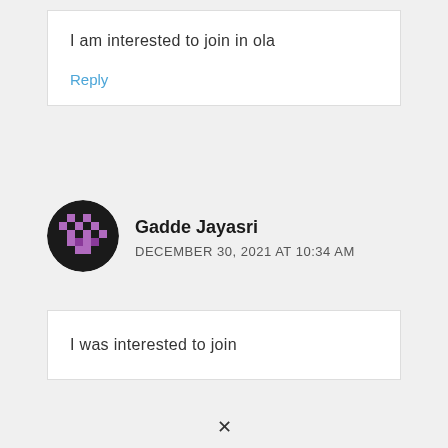I am interested to join in ola
Reply
Gadde Jayasri
DECEMBER 30, 2021 AT 10:34 AM
I was interested to join